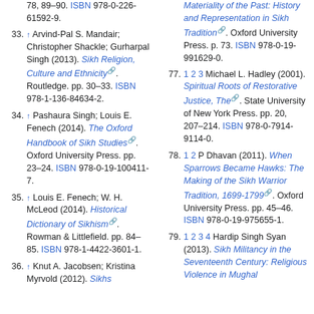(truncated top) 78, 89–90. ISBN 978-0-226-61592-9.
33. ↑ Arvind-Pal S. Mandair; Christopher Shackle; Gurharpal Singh (2013). Sikh Religion, Culture and Ethnicity. Routledge. pp. 30–33. ISBN 978-1-136-84634-2.
34. ↑ Pashaura Singh; Louis E. Fenech (2014). The Oxford Handbook of Sikh Studies. Oxford University Press. pp. 23–24. ISBN 978-0-19-100411-7.
35. ↑ Louis E. Fenech; W. H. McLeod (2014). Historical Dictionary of Sikhism. Rowman & Littlefield. pp. 84–85. ISBN 978-1-4422-3601-1.
36. ↑ Knut A. Jacobsen; Kristina Myrvold (2012). Sikhs... (truncated)
(truncated top right) Materiality of the Past: History and Representation in Sikh Tradition. Oxford University Press. p. 73. ISBN 978-0-19-991629-0.
77. 1 2 3 Michael L. Hadley (2001). Spiritual Roots of Restorative Justice, The. State University of New York Press. pp. 20, 207–214. ISBN 978-0-7914-9114-0.
78. 1 2 P Dhavan (2011). When Sparrows Became Hawks: The Making of the Sikh Warrior Tradition, 1699-1799. Oxford University Press. pp. 45–46. ISBN 978-0-19-975655-1.
79. 1 2 3 4 Hardip Singh Syan (2013). Sikh Militancy in the Seventeenth Century: Religious Violence in Mughal... (truncated)